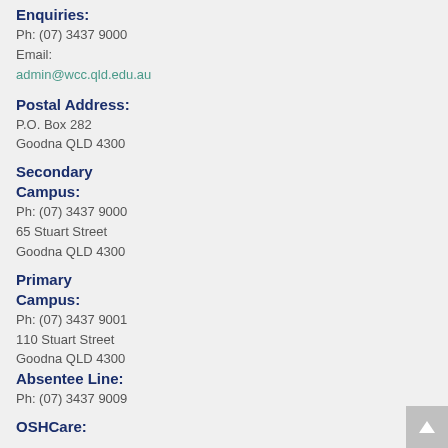Enquiries:
Ph: (07) 3437 9000
Email:
admin@wcc.qld.edu.au
Postal Address:
P.O. Box 282
Goodna QLD 4300
Secondary Campus:
Ph: (07) 3437 9000
65 Stuart Street
Goodna QLD 4300
Primary Campus:
Ph: (07) 3437 9001
110 Stuart Street
Goodna QLD 4300
Absentee Line:
Ph: (07) 3437 9009
OSHCare: